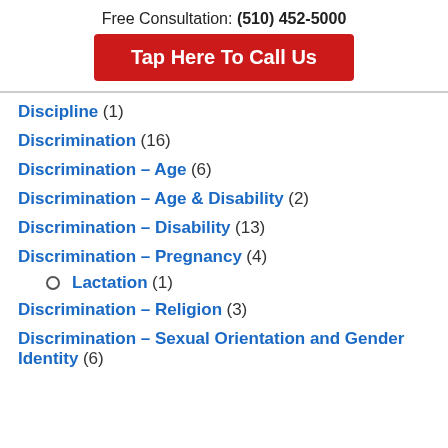Free Consultation: (510) 452-5000
Tap Here To Call Us
Discipline (1)
Discrimination (16)
Discrimination – Age (6)
Discrimination – Age & Disability (2)
Discrimination – Disability (13)
Discrimination – Pregnancy (4)
Lactation (1)
Discrimination – Religion (3)
Discrimination – Sexual Orientation and Gender Identity (6)